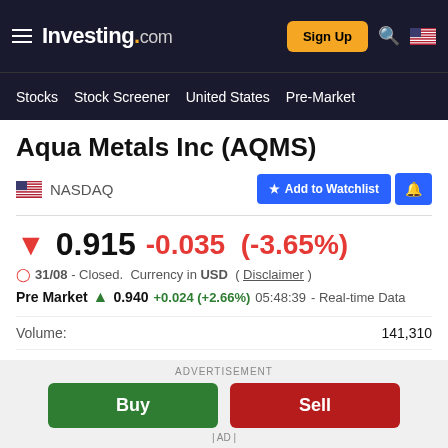Investing.com — Stocks | Stock Screener | United States | Pre-Market
Aqua Metals Inc (AQMS)
NASDAQ
0.915  -0.035  (-3.65%)
31/08 - Closed.  Currency in USD  ( Disclaimer )
Pre Market  0.940  +0.024  (+2.66%)  05:48:39 - Real-time Data
| Label | Value |
| --- | --- |
| Volume: | 141,310 |
| Day's Range: | 0.900 - 0.949 |
ADVERTISEMENT
Buy | Sell
| AD |